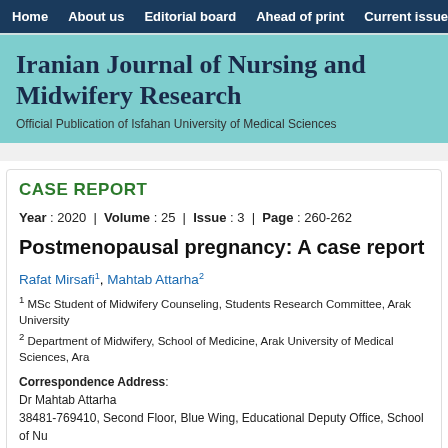Home | About us | Editorial board | Ahead of print | Current issue
Iranian Journal of Nursing and Midwifery Research
Official Publication of Isfahan University of Medical Sciences
CASE REPORT
Year : 2020 | Volume : 25 | Issue : 3 | Page : 260-262
Postmenopausal pregnancy: A case report
Rafat Mirsafi1, Mahtab Attarha2
1 MSc Student of Midwifery Counseling, Students Research Committee, Arak University
2 Department of Midwifery, School of Medicine, Arak University of Medical Sciences, Ara
Correspondence Address:
Dr Mahtab Attarha
38481-769410, Second Floor, Blue Wing, Educational Deputy Office, School of Nursing and Midwifery, Arak University of Medical Sciences, Arak
Iran